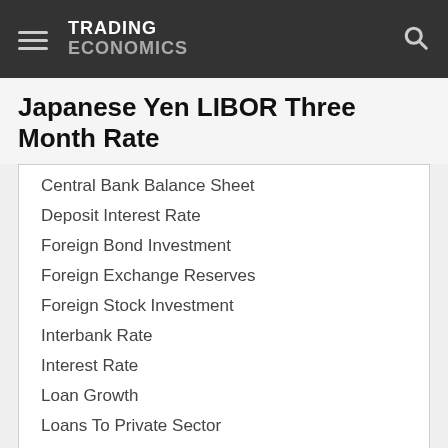TRADING ECONOMICS
Japanese Yen LIBOR Three Month Rate
Central Bank Balance Sheet
Deposit Interest Rate
Foreign Bond Investment
Foreign Exchange Reserves
Foreign Stock Investment
Interbank Rate
Interest Rate
Loan Growth
Loans To Private Sector
Money Supply M0
Money Supply M1
Money Supply M2
Money Supply M3
Private Debt To GDP
Trade